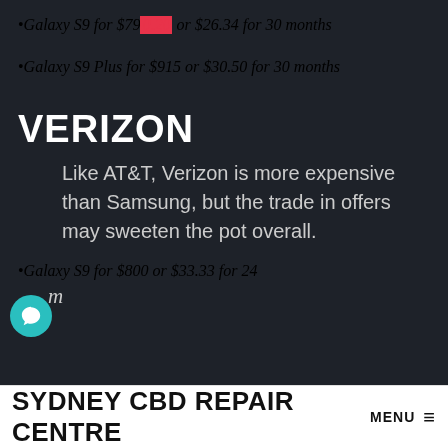Galaxy S9 for $790.20 or $26.34 for 30 months
Galaxy S9 Plus for $915 or $30.50 for 30 months
VERIZON
Like AT&T, Verizon is more expensive than Samsung, but the trade in offers may sweeten the pot overall.
Galaxy S9 for $800 or $33.33 for 24 months
SYDNEY CBD REPAIR CENTRE  MENU ≡